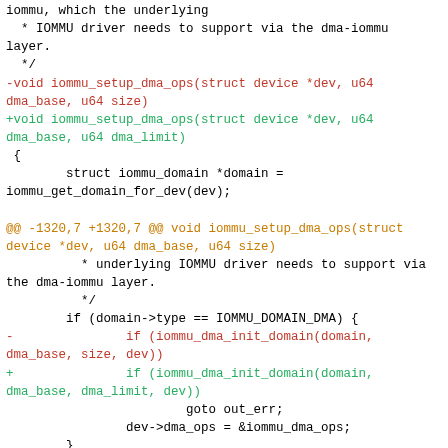iommu, which the underlying
  * IOMMU driver needs to support via the dma-iommu layer.
  */
-void iommu_setup_dma_ops(struct device *dev, u64 dma_base, u64 size)
+void iommu_setup_dma_ops(struct device *dev, u64 dma_base, u64 dma_limit)
 {
        struct iommu_domain *domain = iommu_get_domain_for_dev(dev);

@@ -1320,7 +1320,7 @@ void iommu_setup_dma_ops(struct device *dev, u64 dma_base, u64 size)
          * underlying IOMMU driver needs to support via the dma-iommu layer.
          */
        if (domain->type == IOMMU_DOMAIN_DMA) {
-               if (iommu_dma_init_domain(domain, dma_base, size, dev))
+               if (iommu_dma_init_domain(domain, dma_base, dma_limit, dev))
                        goto out_err;
                dev->dma_ops = &iommu_dma_ops;
        }
diff --git a/drivers/iommu/intel/iommu.c b/drivers/iommu/intel/iommu.c
index 708f430af1c4..39a4e672b1c2 100644
--- a/drivers/iommu/intel/iommu.c
+++ b/drivers/iommu/intel/iommu.c
@@ -5166,7 +5166,7 @@ static void